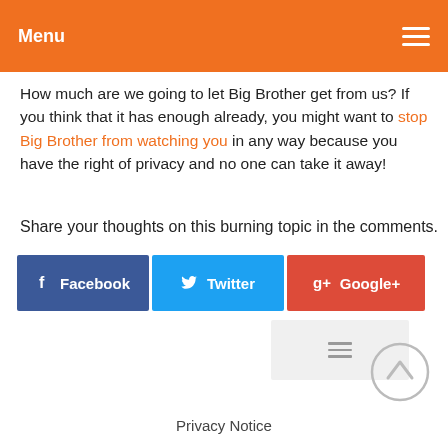Menu
How much are we going to let Big Brother get from us? If you think that it has enough already, you might want to stop Big Brother from watching you in any way because you have the right of privacy and no one can take it away!
Share your thoughts on this burning topic in the comments.
[Figure (other): Social sharing buttons: Facebook (blue), Twitter (light blue), Google+ (red), and a more options button (grey with hamburger icon)]
[Figure (other): Scroll to top circular button with upward chevron arrow]
Privacy Notice